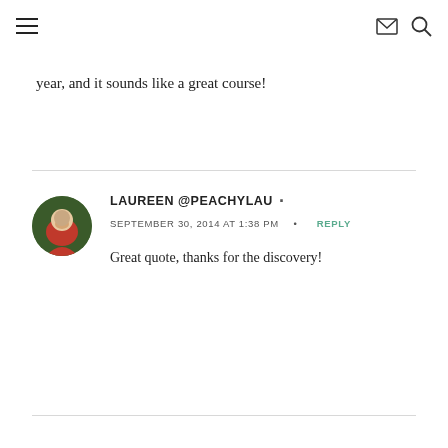≡  ✉ 🔍
year, and it sounds like a great course!
LAUREEN @PEACHYLAU · SEPTEMBER 30, 2014 AT 1:38 PM · REPLY
Great quote, thanks for the discovery!